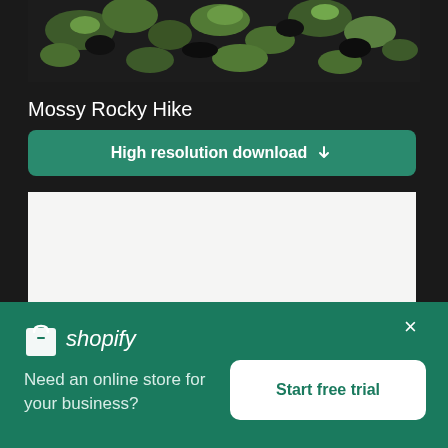[Figure (photo): Mossy rocky terrain with green moss and dark volcanic rock, top portion of image]
Mossy Rocky Hike
High resolution download ↓
[Figure (photo): Minimalist foggy landscape with a single small figure of a person standing in the middle of a vast white misty scene]
[Figure (logo): Shopify logo and advertisement banner with teal background, Shopify logo, tagline 'Need an online store for your business?' and 'Start free trial' button]